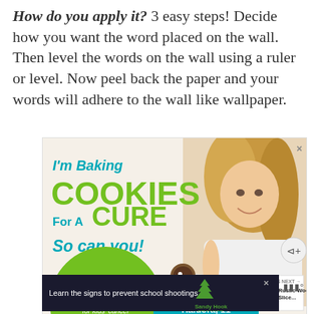How do you apply it? 3 easy steps! Decide how you want the word placed on the wall. Then level the words on the wall using a ruler or level. Now peel back the paper and your words will adhere to the wall like wallpaper.
[Figure (photo): Advertisement for 'Cookies for Kids' Cancer' featuring a young blonde girl holding a plate of cookies with text 'I'm Baking COOKIES For A CURE So can you!' and 'Haldora, 11 Cancer Survivor']
[Figure (photo): Sandy Hook Promise advertisement with dark background: 'Learn the signs to prevent school shootings.' with Sandy Hook Promise tree logo]